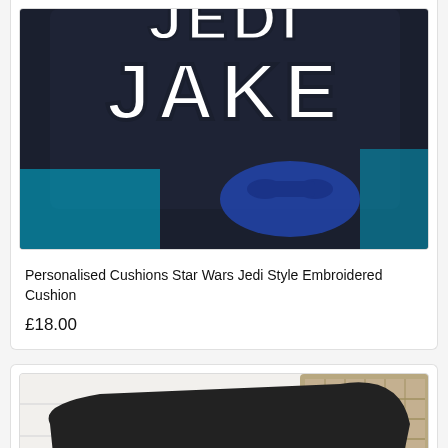[Figure (photo): A dark navy/black cushion embroidered with 'JEDI JAKE' in Star Wars style white block letters, held by a person also holding a blue Xbox game controller, sitting in a dark chair with teal clothing visible.]
Personalised Cushions Star Wars Jedi Style Embroidered Cushion
£18.00
[Figure (photo): A black cushion with a green circular embroidery detail, leaning against a wicker/rattan basket on a light wooden surface against a white brick wall.]